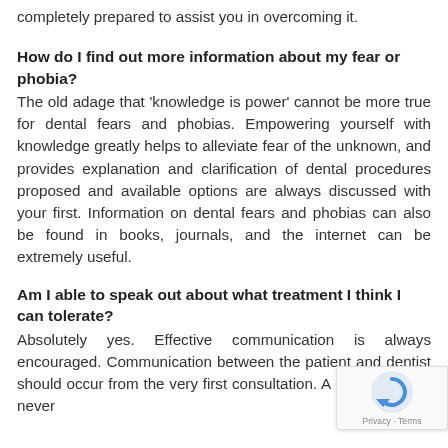completely prepared to assist you in overcoming it.
How do I find out more information about my fear or phobia?
The old adage that 'knowledge is power' cannot be more true for dental fears and phobias. Empowering yourself with knowledge greatly helps to alleviate fear of the unknown, and provides explanation and clarification of dental procedures proposed and available options are always discussed with your first. Information on dental fears and phobias can also be found in books, journals, and the internet can be extremely useful.
Am I able to speak out about what treatment I think I can tolerate?
Absolutely yes. Effective communication is always encouraged. Communication between the patient and dentist should occur from the very first consultation. A person should never